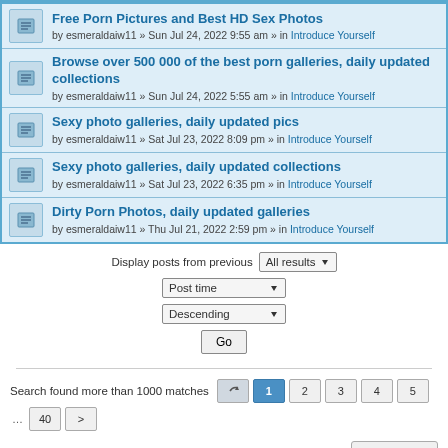Free Porn Pictures and Best HD Sex Photos — by esmeraldaiw11 » Sun Jul 24, 2022 9:55 am » in Introduce Yourself
Browse over 500 000 of the best porn galleries, daily updated collections — by esmeraldaiw11 » Sun Jul 24, 2022 5:55 am » in Introduce Yourself
Sexy photo galleries, daily updated pics — by esmeraldaiw11 » Sat Jul 23, 2022 8:09 pm » in Introduce Yourself
Sexy photo galleries, daily updated collections — by esmeraldaiw11 » Sat Jul 23, 2022 6:35 pm » in Introduce Yourself
Dirty Porn Photos, daily updated galleries — by esmeraldaiw11 » Thu Jul 21, 2022 2:59 pm » in Introduce Yourself
Display posts from previous: All results
Post time
Descending
Go
Search found more than 1000 matches 1 2 3 4 5 … 40 >
Jump to
Board index   Contact us   The team
Powered by phpBB® Forum Software © phpBB Limited